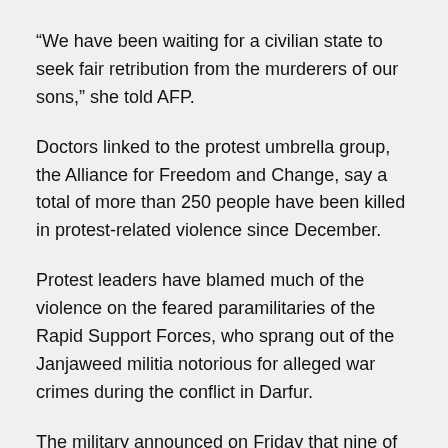“We have been waiting for a civilian state to seek fair retribution from the murderers of our sons,” she told AFP.
Doctors linked to the protest umbrella group, the Alliance for Freedom and Change, say a total of more than 250 people have been killed in protest-related violence since December.
Protest leaders have blamed much of the violence on the feared paramilitaries of the Rapid Support Forces, who sprang out of the Janjaweed militia notorious for alleged war crimes during the conflict in Darfur.
The military announced on Friday that nine of them had been dismissed and arrested on suspicion of involvement in this week’s fatal shootings in Al-Obeid.
Protest leaders said they had won the military’s agreement